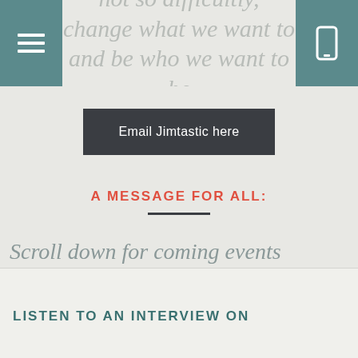not so difficultly, change what we want to and be who we want to be
Email Jimtastic here
A MESSAGE FOR ALL:
Scroll down for coming events
LISTEN TO AN INTERVIEW ON